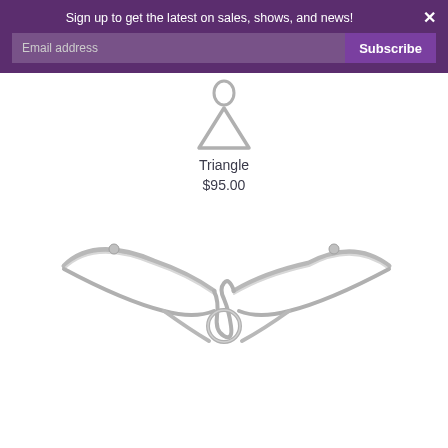Sign up to get the latest on sales, shows, and news!
[Figure (photo): Silver triangle ring pendant jewelry piece, partially visible at top]
Triangle
$95.00
[Figure (photo): Silver wire bangle bracelet with knot/circle design element in center, open cuff style]